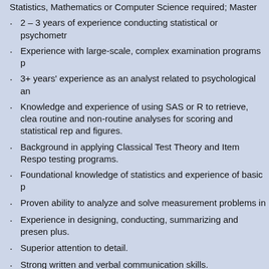Statistics, Mathematics or Computer Science required; Master
2 – 3 years of experience conducting statistical or psychometr
Experience with large-scale, complex examination programs p
3+ years' experience as an analyst related to psychological an
Knowledge and experience of using SAS or R to retrieve, clea routine and non-routine analyses for scoring and statistical rep and figures.
Background in applying Classical Test Theory and Item Respo testing programs.
Foundational knowledge of statistics and experience of basic p
Proven ability to analyze and solve measurement problems in
Experience in designing, conducting, summarizing and presen plus.
Superior attention to detail.
Strong written and verbal communication skills.
Strong analytic and programming skill e.g., SAS and R, and Ps WINSTEPS.
Knowledge and experience with SQL is plus.
POSITION STATUS: FULL-TIME REGULAR EXEMPT
To Apply: